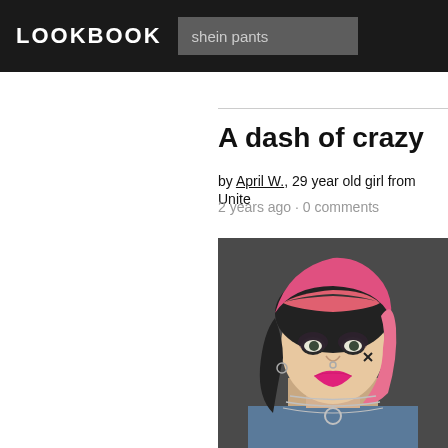LOOKBOOK
shein pants
A dash of crazy
by April W., 29 year old girl from Unite
2 years ago · 0 comments
[Figure (photo): Young woman with pink and blonde hair in pigtails, heavy eye makeup with a drawn cross near eye, bright pink lips, wearing silver chain necklaces and denim jacket, looking directly at camera]